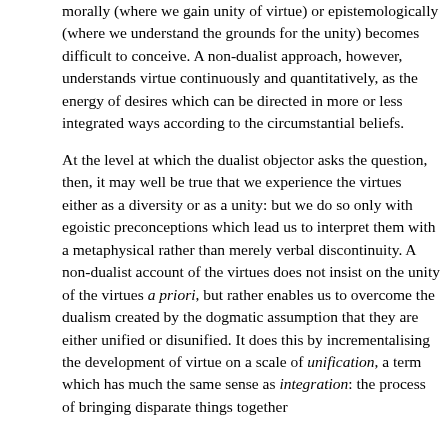morally (where we gain unity of virtue) or epistemologically (where we understand the grounds for the unity) becomes difficult to conceive. A non-dualist approach, however, understands virtue continuously and quantitatively, as the energy of desires which can be directed in more or less integrated ways according to the circumstantial beliefs.

At the level at which the dualist objector asks the question, then, it may well be true that we experience the virtues either as a diversity or as a unity: but we do so only with egoistic preconceptions which lead us to interpret them with a metaphysical rather than merely verbal discontinuity. A non-dualist account of the virtues does not insist on the unity of the virtues a priori, but rather enables us to overcome the dualism created by the dogmatic assumption that they are either unified or disunified. It does this by incrementalising the development of virtue on a scale of unification, a term which has much the same sense as integration: the process of bringing disparate things together